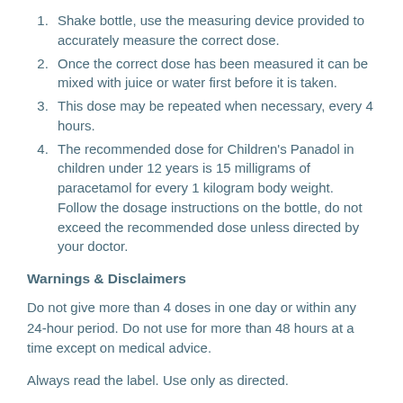Shake bottle, use the measuring device provided to accurately measure the correct dose.
Once the correct dose has been measured it can be mixed with juice or water first before it is taken.
This dose may be repeated when necessary, every 4 hours.
The recommended dose for Children's Panadol in children under 12 years is 15 milligrams of paracetamol for every 1 kilogram body weight. Follow the dosage instructions on the bottle, do not exceed the recommended dose unless directed by your doctor.
Warnings & Disclaimers
Do not give more than 4 doses in one day or within any 24-hour period. Do not use for more than 48 hours at a time except on medical advice.
Always read the label. Use only as directed.
If symptoms persist see your Health Care Professional.